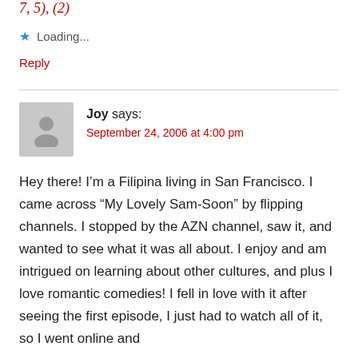7, 5), (2)
★ Loading...
Reply
[Figure (illustration): Grey avatar placeholder icon showing silhouette of a person]
Joy says:
September 24, 2006 at 4:00 pm
Hey there! I’m a Filipina living in San Francisco. I came across “My Lovely Sam-Soon” by flipping channels. I stopped by the AZN channel, saw it, and wanted to see what it was all about. I enjoy and am intrigued on learning about other cultures, and plus I love romantic comedies! I fell in love with it after seeing the first episode, I just had to watch all of it, so I went online and